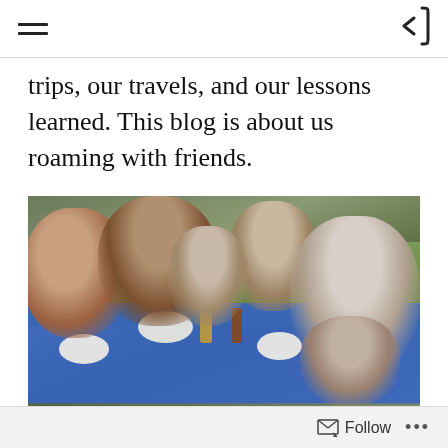≡  [back arrow]
trips, our travels, and our lessons learned. This blog is about us roaming with friends.
[Figure (photo): Group of people seated around a blue tablecloth-covered picnic table outdoors, eating a meal together in a park setting. Several adults and children are visible, smiling at the camera.]
Follow  ...